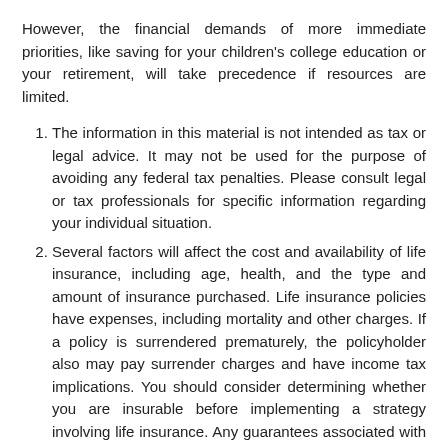However, the financial demands of more immediate priorities, like saving for your children's college education or your retirement, will take precedence if resources are limited.
The information in this material is not intended as tax or legal advice. It may not be used for the purpose of avoiding any federal tax penalties. Please consult legal or tax professionals for specific information regarding your individual situation.
Several factors will affect the cost and availability of life insurance, including age, health, and the type and amount of insurance purchased. Life insurance policies have expenses, including mortality and other charges. If a policy is surrendered prematurely, the policyholder also may pay surrender charges and have income tax implications. You should consider determining whether you are insurable before implementing a strategy involving life insurance. Any guarantees associated with a policy are dependent on the ability of the issuing insurance company to continue making claim payments.
Posted in Insurance   Tagged auto insurance, CG Insurance Agency, home insurance, life insurance, Williamston MI   Leave a